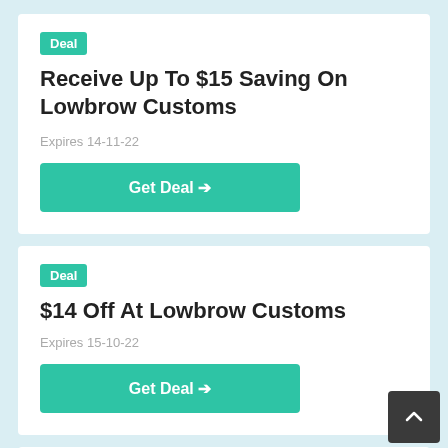Deal
Receive Up To $15 Saving On Lowbrow Customs
Expires 14-11-22
Get Deal →
Deal
$14 Off At Lowbrow Customs
Expires 15-10-22
Get Deal →
Deal